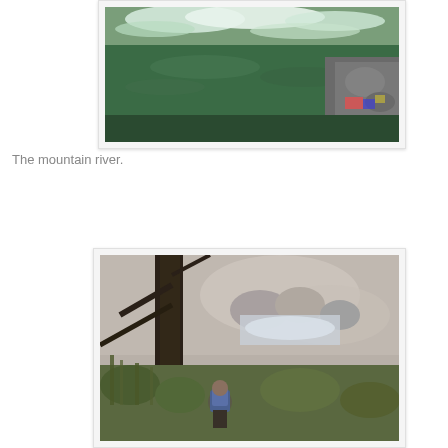[Figure (photo): A mountain river with rushing white water at the top and green water below, with rocky shoreline visible on the right side.]
The mountain river.
[Figure (photo): A person with a blue backpack hiking through dense scrub vegetation near a rocky mountain river, with trees visible in the background.]